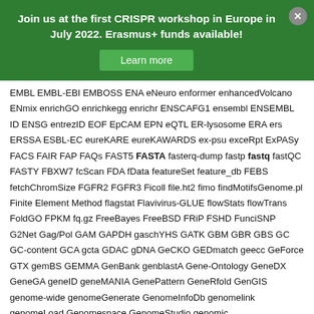Join us at the first CRISPR workshop in Europe in July 2022. Erasmus+ funds available!
Learn more
EMBL EMBL-EBI EMBOSS ENA eNeuro enformer enhancedVolcano ENmix enrichGO enrichkegg enrichr ENSCAFG1 ensembl ENSEMBL ID ENSG entrezID EOF EpCAM EPN eQTL ER-lysosome ERA ers ERSSA ESBL-EC eureKARE eureKAWARDS ex-psu exceRpt ExPASy FACS FAIR FAP FAQs FAST5 FASTA fasterq-dump fastp fastq fastQC FASTY FBXW7 fcScan FDA fData featureSet feature_db FEBS fetchChromSize FGFR2 FGFR3 Ficoll file.ht2 fimo findMotifsGenome.pl Finite Element Method flagstat Flavivirus-GLUE flowStats flowTrans FoldGO FPKM fq.gz FreeBayes FreeBSD FRiP FSHD FunciSNP G2Net Gag/Pol GAM GAPDH gaschYHS GATK GBM GBR GBS GC GC-content GCA gcta GDAC gDNA GeCKO GEDmatch geecc GeForce GTX gemBS GEMMA GenBank genblastA Gene-Ontology GeneDX GeneGA geneID geneMANIA GenePattern GeneRfold GenGIS genome-wide genomeGenerate GenomeInfoDb genomelink genomeLoad Genomespace GenomeStudio genomic GenomicsDBImport GENtle Gentoo GenXys GEO GEO2R GEOexplorer GEOquery GEO_OPT getEAWP getfasta getGEO Geworkbench GEX GFF gff3 gffread GFP ggalt